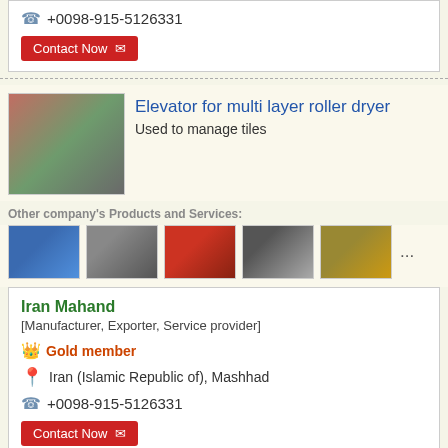☎ +0098-915-5126331
Contact Now ✉
Elevator for multi layer roller dryer
Used to manage tiles
Other company's Products and Services:
[Figure (photo): Thumbnail images of related products]
Iran Mahand
[Manufacturer, Exporter, Service provider]
Gold member
Iran (Islamic Republic of), Mashhad
+0098-915-5126331
Contact Now ✉
Tile Uniformer
It is installed at the entry of glazing....
[Figure (photo): Image of tile uniformer machine]